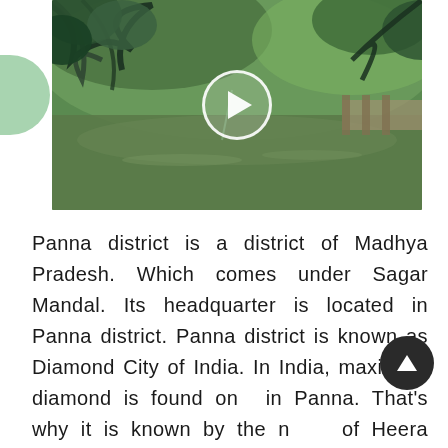[Figure (photo): A scenic nature photo showing a green lake or pond surrounded by lush trees with overhanging branches. A play button (white circle with triangle) is overlaid in the center, indicating a video thumbnail. The scene is lush and green, possibly a park or forest area.]
Panna district is a district of Madhya Pradesh. Which comes under Sagar Mandal. Its headquarter is located in Panna district. Panna district is known as Diamond City of India. In India, maximum diamond is found only in Panna. That's why it is known by the name of Heera Nagari, Panna district, popularly known as Heera Nagari, is a district in the state of Madhya Pradesh, which is located in the middle